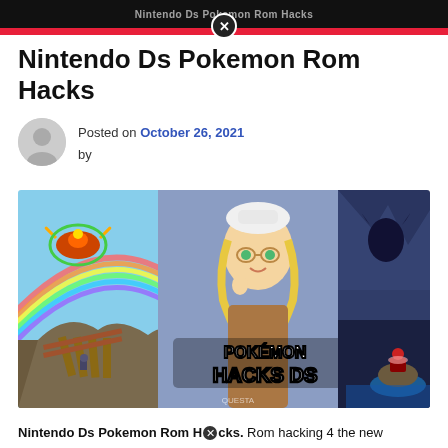Nintendo Ds Pokemon Rom Hacks
Nintendo Ds Pokemon Rom Hacks
Posted on October 26, 2021 by
[Figure (photo): Pokemon Hacks DS promotional image showing a Pokemon trainer girl with blonde hair and green eyes, Ho-Oh legendary bird Pokemon on a rainbow in the top left, a dark legendary Pokemon silhouette in the top right, a small player character on a wooden bridge in the bottom left, and a Volcanion-like Pokemon on a rock in the bottom right. The Pokemon Hacks DS logo is displayed prominently in white text with black outline.]
Nintendo Ds Pokemon Rom Hacks. Rom hacking 4 the new